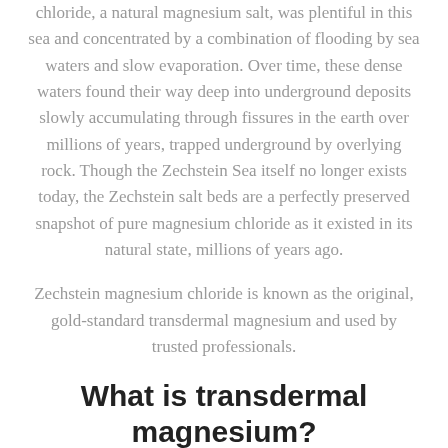chloride, a natural magnesium salt, was plentiful in this sea and concentrated by a combination of flooding by sea waters and slow evaporation. Over time, these dense waters found their way deep into underground deposits slowly accumulating through fissures in the earth over millions of years, trapped underground by overlying rock. Though the Zechstein Sea itself no longer exists today, the Zechstein salt beds are a perfectly preserved snapshot of pure magnesium chloride as it existed in its natural state, millions of years ago.
Zechstein magnesium chloride is known as the original, gold-standard transdermal magnesium and used by trusted professionals.
What is transdermal magnesium?
Ancient magnesium products offer a convenient form of transdermal magnesium, meaning “through the skin”. Transdermal is nothing new, as many